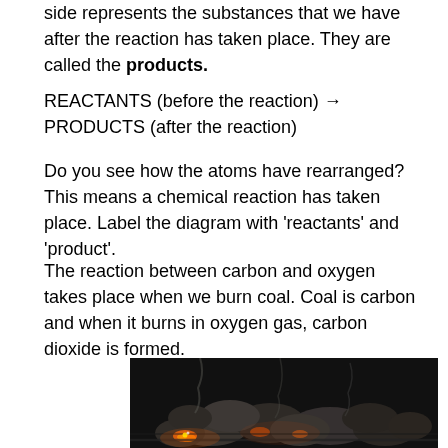side represents the substances that we have after the reaction has taken place. They are called the products.
REACTANTS (before the reaction) → PRODUCTS (after the reaction)
Do you see how the atoms have rearranged? This means a chemical reaction has taken place. Label the diagram with 'reactants' and 'product'.
The reaction between carbon and oxygen takes place when we burn coal. Coal is carbon and when it burns in oxygen gas, carbon dioxide is formed.
[Figure (photo): Photograph of burning coal on a grill/barbecue, showing glowing orange embers and dark coal chunks with smoke rising, set against a dark background.]